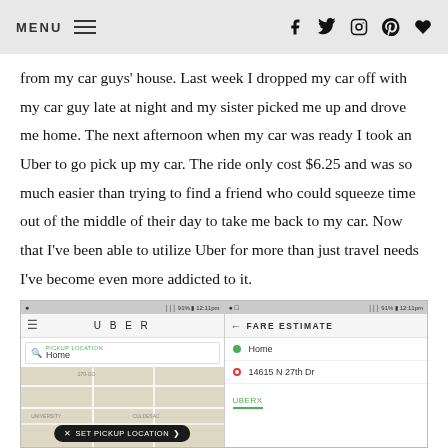MENU  f  Twitter  Instagram  Pinterest  Heart
from my car guys’ house. Last week I dropped my car off with my car guy late at night and my sister picked me up and drove me home. The next afternoon when my car was ready I took an Uber to go pick up my car. The ride only cost $6.25 and was so much easier than trying to find a friend who could squeeze time out of the middle of their day to take me back to my car. Now that I’ve been able to utilize Uber for more than just travel needs I’ve become even more addicted to it.
[Figure (screenshot): Two mobile phone screenshots side by side showing the Uber app. Left screen shows the Uber app with a map and 'SET PICKUP LOCATION' button, with 'Home' entered as pickup location. Right screen shows a Fare Estimate screen with Home as origin and 14615 N 27th Dr as destination, with UberX option shown.]